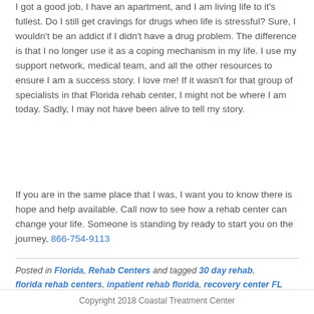I got a good job, I have an apartment, and I am living life to it's fullest. Do I still get cravings for drugs when life is stressful? Sure, I wouldn't be an addict if I didn't have a drug problem. The difference is that I no longer use it as a coping mechanism in my life. I use my support network, medical team, and all the other resources to ensure I am a success story. I love me! If it wasn't for that group of specialists in that Florida rehab center, I might not be where I am today. Sadly, I may not have been alive to tell my story.
If you are in the same place that I was, I want you to know there is hope and help available. Call now to see how a rehab center can change your life. Someone is standing by ready to start you on the journey, 866-754-9113
Posted in Florida, Rehab Centers and tagged 30 day rehab, florida rehab centers, inpatient rehab florida, recovery center FL
Copyright 2018 Coastal Treatment Center